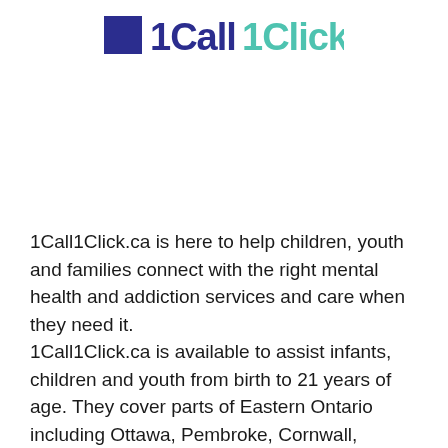[Figure (logo): 1Call1Click.ca logo with dark blue square icon, bold dark blue text '1Call' and teal text '1Click.ca']
1Call1Click.ca is here to help children, youth and families connect with the right mental health and addiction services and care when they need it.
1Call1Click.ca is available to assist infants, children and youth from birth to 21 years of age. They cover parts of Eastern Ontario including Ottawa, Pembroke, Cornwall, Hawkesbury, and surrounding areas including the counties of...